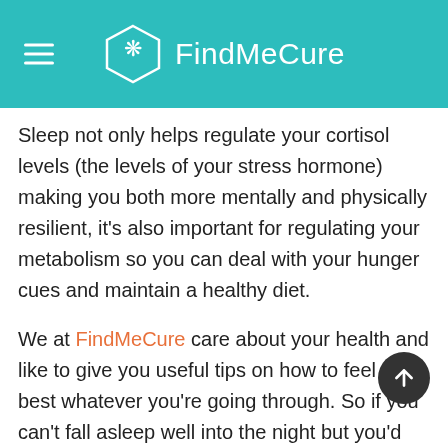FindMeCure
Sleep not only helps regulate your cortisol levels (the levels of your stress hormone) making you both more mentally and physically resilient, it's also important for regulating your metabolism so you can deal with your hunger cues and maintain a healthy diet.
We at FindMeCure care about your health and like to give you useful tips on how to feel your best whatever you're going through. So if you can't fall asleep well into the night but you'd rather try something less invasive before you turn to sleeping pills, read on.